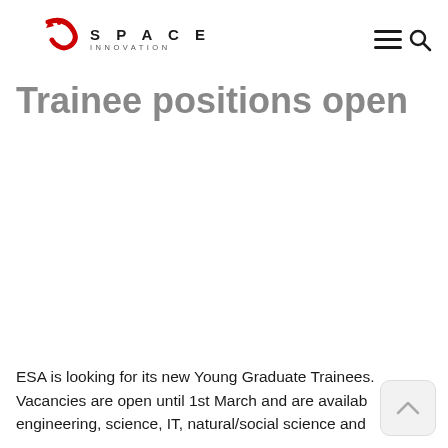SPACE INNOVATION
Trainee positions open
ESA is looking for its new Young Graduate Trainees. Vacancies are open until 1st March and are available in engineering, science, IT, natural/social science and